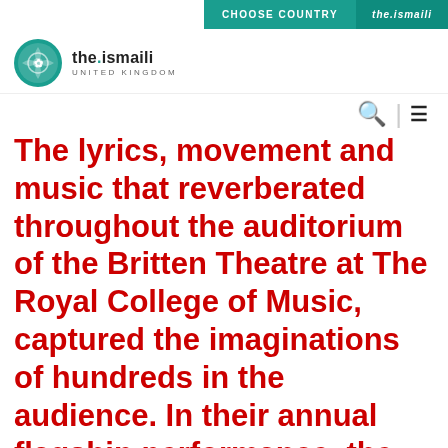CHOOSE COUNTRY   the.ismaili
[Figure (logo): the.ismaili United Kingdom logo with circular teal decorative emblem]
The lyrics, movement and music that reverberated throughout the auditorium of the Britten Theatre at The Royal College of Music, captured the imaginations of hundreds in the audience. In their annual flagship performance, the Ismaili Community Ensemble demonstrated that historical literature represents an